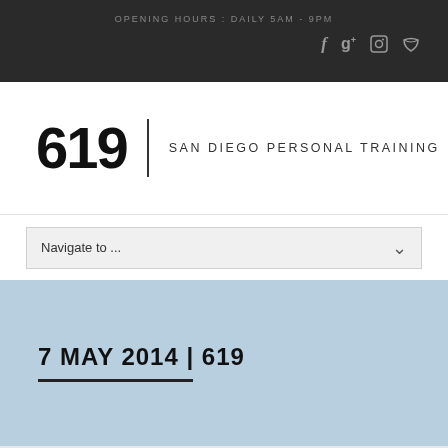OPENING HOURS : DAILY 5AM - 9PM
619 | SAN DIEGO PERSONAL TRAINING
Navigate to ...
7 MAY 2014 | 619